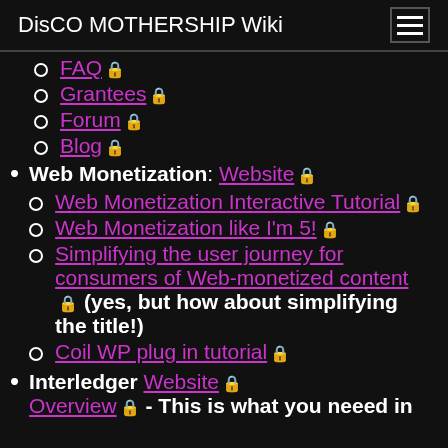DisCO MOTHERSHIP Wiki
FAQ 🔒
Grantees 🔒
Forum 🔒
Blog 🔒
Web Monetization: Website 🔒
Web Monetization Interactive Tutorial 🔒
Web Monetization like I'm 5! 🔒
Simplifying the user journey for consumers of Web-monetized content 🔒 (yes, but how about simplifying the title!)
Coil WP plug in tutorial 🔒
Interledger Website 🔒 Overview 🔒 - This is what you neeed in